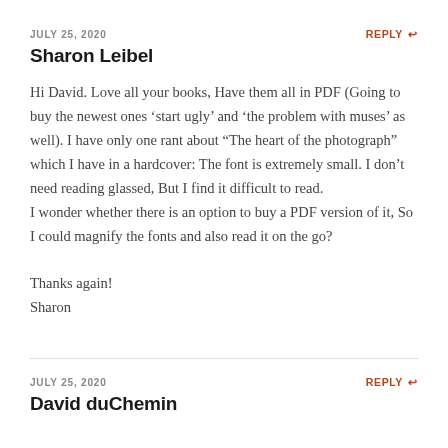JULY 25, 2020
REPLY
Sharon Leibel
Hi David. Love all your books, Have them all in PDF (Going to buy the newest ones 'start ugly' and 'the problem with muses' as well). I have only one rant about “The heart of the photograph” which I have in a hardcover: The font is extremely small. I don’t need reading glassed, But I find it difficult to read.
I wonder whether there is an option to buy a PDF version of it, So I could magnify the fonts and also read it on the go?

Thanks again!
Sharon
JULY 25, 2020
REPLY
David duChemin